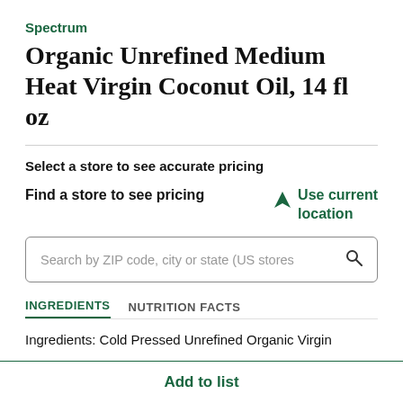Spectrum
Organic Unrefined Medium Heat Virgin Coconut Oil, 14 fl oz
Select a store to see accurate pricing
Find a store to see pricing
Use current location
Search by ZIP code, city or state (US stores
INGREDIENTS
NUTRITION FACTS
Ingredients: Cold Pressed Unrefined Organic Virgin
Add to list